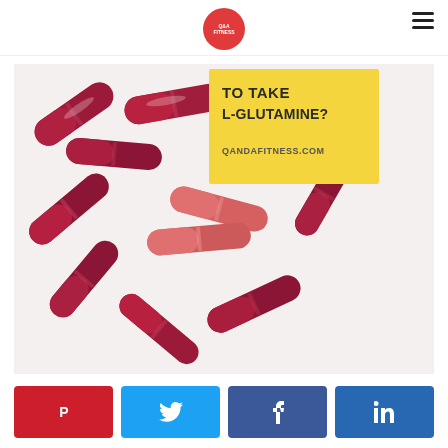Q and A Fitness logo and navigation
[Figure (photo): Photo of multiple red and pink gelatin capsule supplements scattered on a white background, with a yellow sticky-note style overlay in the upper right reading 'TO TAKE L-GLUTAMINE?' and 'QANDAFITNESS.COM']
[Figure (infographic): Row of four social share buttons: Pinterest (red), Twitter (blue), Facebook (dark blue), LinkedIn (medium blue)]